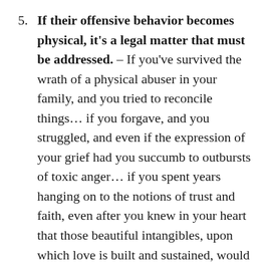5. If their offensive behavior becomes physical, it's a legal matter that must be addressed. – If you've survived the wrath of a physical abuser in your family, and you tried to reconcile things… if you forgave, and you struggled, and even if the expression of your grief had you succumb to outbursts of toxic anger… if you spent years hanging on to the notions of trust and faith, even after you knew in your heart that those beautiful intangibles, upon which love is built and sustained, would never be returned… and especially if you stood up as the barrier between an abuser and someone else, and took the